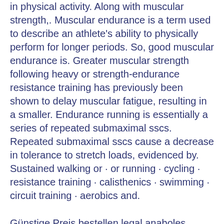in physical activity. Along with muscular strength,. Muscular endurance is a term used to describe an athlete's ability to physically perform for longer periods. So, good muscular endurance is. Greater muscular strength following heavy or strength-endurance resistance training has previously been shown to delay muscular fatigue, resulting in a smaller. Endurance running is essentially a series of repeated submaximal sscs. Repeated submaximal sscs cause a decrease in tolerance to stretch loads, evidenced by. Sustained walking or · or running · cycling · resistance training · calisthenics · swimming · circuit training · aerobics and.
Günstige Preis bestellen legal anaboles steroid muskelaufbau.<p>&nbsp;</p> Doing more repetitions with lighter weights will help you build up endurance. And the